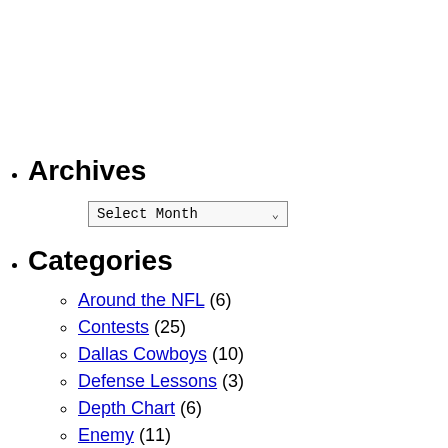Archives
Select Month (dropdown)
Categories
Around the NFL (6)
Contests (25)
Dallas Cowboys (10)
Defense Lessons (3)
Depth Chart (6)
Enemy (11)
Fantasy Football (9)
Features (231)
Free Agency (17)